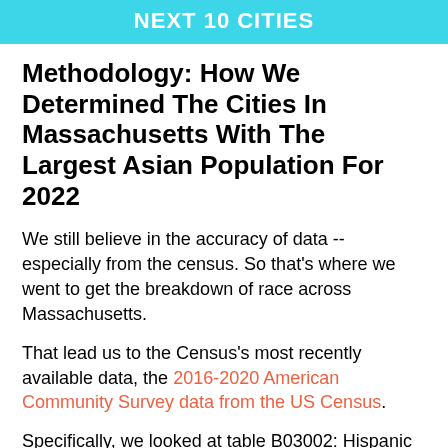NEXT 10 CITIES
Methodology: How We Determined The Cities In Massachusetts With The Largest Asian Population For 2022
We still believe in the accuracy of data -- especially from the census. So that's where we went to get the breakdown of race across Massachusetts.
That lead us to the Census's most recently available data, the 2016-2020 American Community Survey data from the US Census.
Specifically, we looked at table B03002: Hispanic OR LATINO ORIGIN BY RACE. Her...